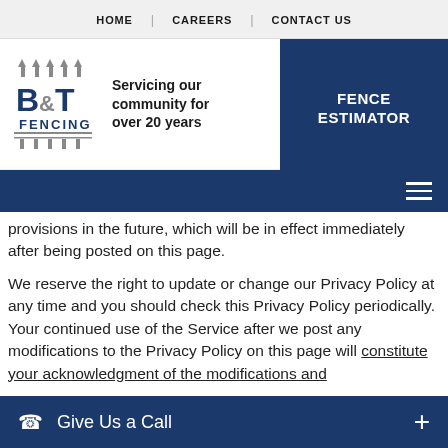HOME | CAREERS | CONTACT US
[Figure (logo): B&T Fencing logo with fence posts and ampersand design]
Servicing our community for over 20 years
FENCE ESTIMATOR
provisions in the future, which will be in effect immediately after being posted on this page.
We reserve the right to update or change our Privacy Policy at any time and you should check this Privacy Policy periodically. Your continued use of the Service after we post any modifications to the Privacy Policy on this page will constitute your acknowledgment of the modifications and
Give Us a Call